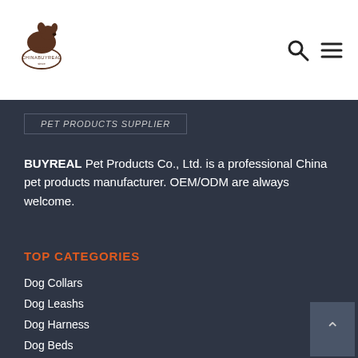[Figure (logo): CHINABUYREAL dog logo with dog silhouette above a badge/oval label]
[Figure (illustration): Search icon (magnifying glass) and hamburger menu icon in top right navigation]
PET PRODUCTS SUPPLIER
BUYREAL Pet Products Co., Ltd. is a professional China pet products manufacturer. OEM/ODM are always welcome.
TOP CATEGORIES
Dog Collars
Dog Leashs
Dog Harness
Dog Beds
Dog Grooming